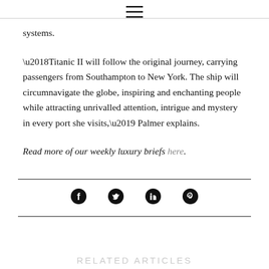☰
systems.
'Titanic II will follow the original journey, carrying passengers from Southampton to New York. The ship will circumnavigate the globe, inspiring and enchanting people while attracting unrivalled attention, intrigue and mystery in every port she visits,' Palmer explains.
Read more of our weekly luxury briefs here.
[Figure (infographic): Social media share icons: Facebook, Twitter, LinkedIn, Pinterest]
RELATED ARTICLES